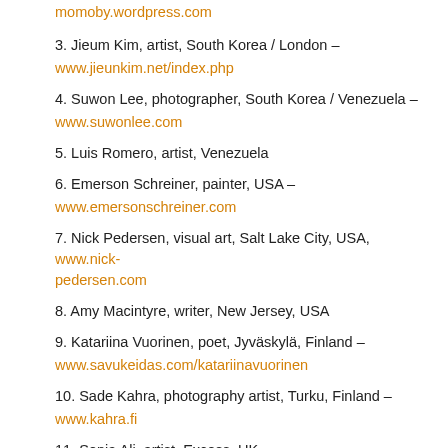momoby.wordpress.com
3. Jieum Kim, artist, South Korea / London – www.jieunkim.net/index.php
4. Suwon Lee, photographer, South Korea / Venezuela – www.suwonlee.com
5. Luis Romero, artist, Venezuela
6. Emerson Schreiner, painter, USA – www.emersonschreiner.com
7. Nick Pedersen, visual art, Salt Lake City, USA, www.nick-pedersen.com
8. Amy Macintyre, writer, New Jersey, USA
9. Katariina Vuorinen, poet, Jyväskylä, Finland – www.savukeidas.com/katariinavuorinen
10. Sade Kahra, photography artist, Turku, Finland – www.kahra.fi
11. Sonia Ali, artist, Excess, UK – www.stormsinateacup.blogspot.com
12. Caroline Jean, painter, Canada –